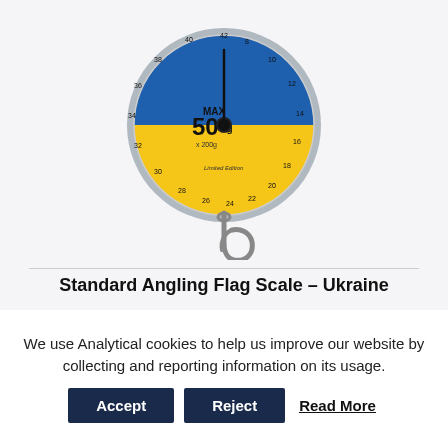[Figure (photo): A circular fishing/angling scale with blue and yellow Ukraine flag colors on the face, reading MAX 50kg, x 200g, Limited Edition. A metal hook hangs below the scale body.]
Standard Angling Flag Scale – Ukraine
We use Analytical cookies to help us improve our website by collecting and reporting information on its usage.
Accept | Reject | Read More